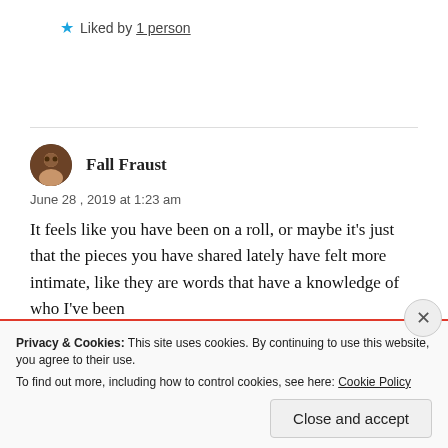★ Liked by 1 person
Fall Fraust
June 28 , 2019 at 1:23 am

It feels like you have been on a roll, or maybe it's just that the pieces you have shared lately have felt more intimate, like they are words that have a knowledge of who I've been or who I am worth more. Another masterpiece to add to my
Privacy & Cookies: This site uses cookies. By continuing to use this website, you agree to their use.
To find out more, including how to control cookies, see here: Cookie Policy